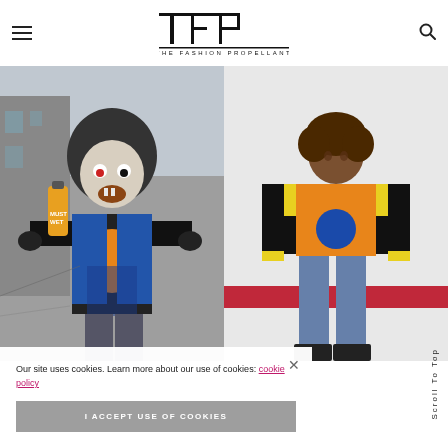TFP THE FASHION PROPELLANT
[Figure (illustration): Left panel: illustrated artwork of a zombie-like figure in a hoodie holding a spray can, wearing blue, orange, and black jacket with urban graffiti background]
[Figure (photo): Right panel: photo of a person/model wearing blue jeans, orange vest, yellow top, black long sleeves — fashion look with red stripe stripe background]
Our site uses cookies. Learn more about our use of cookies: cookie policy
I ACCEPT USE OF COOKIES
Scroll To Top